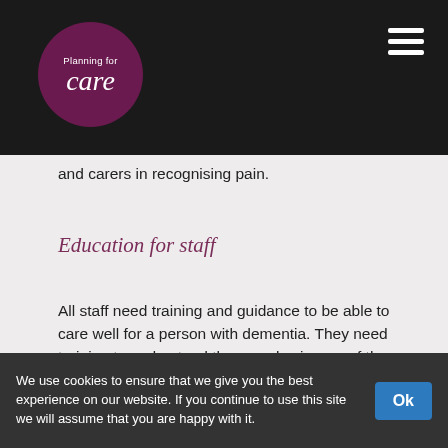Planning for care
and carers in recognising pain.
Education for staff
All staff need training and guidance to be able to care well for a person with dementia. They need training to understand the complex issues of the condition, and how important empathy and understanding are.
Assessment of Pain
Consistency of care with residents with dementia is extremely important in assessing pain and delivering excellent person centred care.
We use cookies to ensure that we give you the best experience on our website. If you continue to use this site we will assume that you are happy with it. Ok